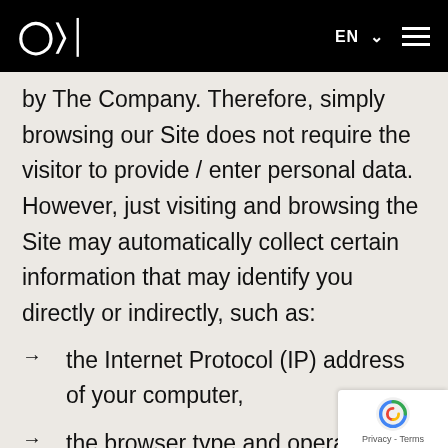ODDI  EN  ☰
by The Company. Therefore, simply browsing our Site does not require the visitor to provide / enter personal data. However, just visiting and browsing the Site may automatically collect certain information that may identify you directly or indirectly, such as:
the Internet Protocol (IP) address of your computer,
the browser type and operating syst…